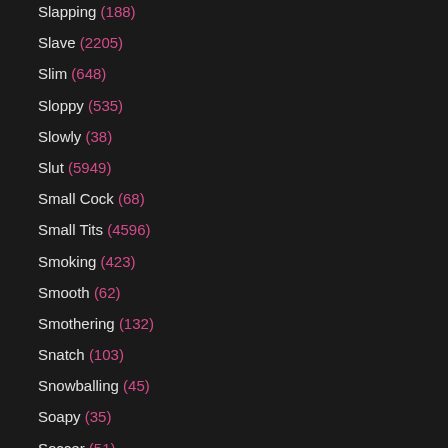Slapping (188)
Slave (2205)
Slim (648)
Sloppy (535)
Slowly (38)
Slut (5949)
Small Cock (68)
Small Tits (4596)
Smoking (423)
Smooth (62)
Smothering (132)
Snatch (103)
Snowballing (45)
Soapy (35)
Soccer (51)
Socks (161)